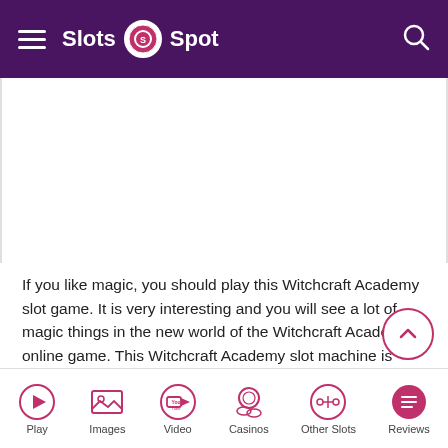Slots Spot
[Figure (other): Witchcraft Academy slot game screenshot or promotional image (white placeholder area)]
If you like magic, you should play this Witchcraft Academy slot game. It is very interesting and you will see a lot of magic things in the new world of the Witchcraft Academy online game. This Witchcraft Academy slot machine is developed by NetEnt and its graphics and style are really charming.
GAMEPLAY AND PRIZES
You should know that there is no downloading and no registration. You will be able to save a lot of time because you
Play  Images  Video  Casinos  Other Slots  Reviews